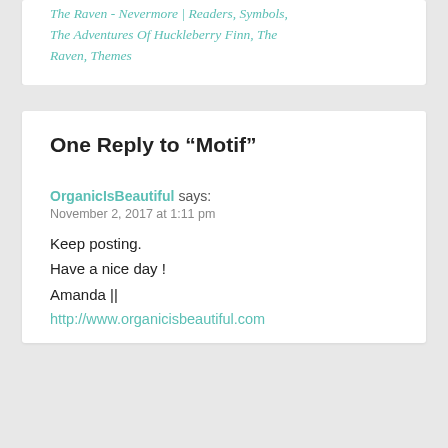The Raven - Nevermore | Readers, Symbols, The Adventures Of Huckleberry Finn, The Raven, Themes
One Reply to “Motif”
OrganicIsBeautiful says:
November 2, 2017 at 1:11 pm
Keep posting.
Have a nice day !
Amanda ||
http://www.organicisbeautiful.com